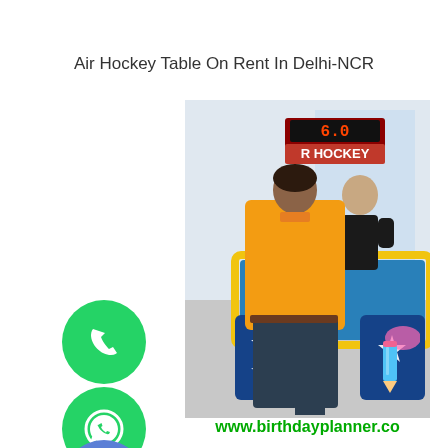Air Hockey Table On Rent In Delhi-NCR
[Figure (photo): Two people playing air hockey on a colorful air hockey table (blue surface, yellow border, red/blue star-decorated sides). One person in yellow jacket faces away, another in black shirt faces them. A scoreboard displays 6.0 above 'R HOCKEY'. Green phone button, green WhatsApp button, and blue close button on the left side. Website URL at bottom: www.birthdayplanner.co]
www.birthdayplanner.co